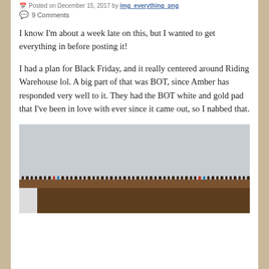Posted on December 15, 2017 by img_everything_png
9 Comments
I know I'm about a week late on this, but I wanted to get everything in before posting it!
I had a plan for Black Friday, and it really centered around Riding Warehouse lol. A big part of that was BOT, since Amber has responded very well to it. They had the BOT white and gold pad that I've been in love with ever since it came out, so I nabbed that.
[Figure (photo): Exterior photo of a barn or stable building with a brown wooden roof rail, small dots/knobs along the roofline in brown, red and blue, and a grey sky background.]